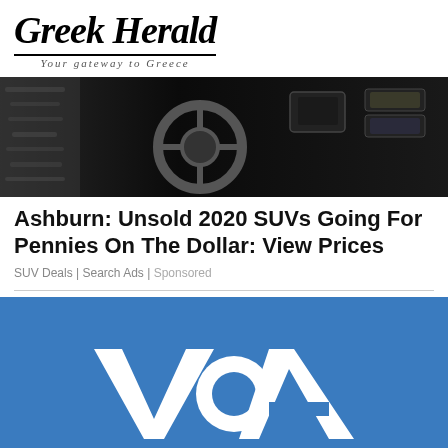Greek Herald — Your gateway to Greece
[Figure (photo): Dark interior photo of a car dashboard with steering wheel and digital screens]
Ashburn: Unsold 2020 SUVs Going For Pennies On The Dollar: View Prices
SUV Deals | Search Ads | Sponsored
[Figure (logo): VOA (Voice of America) logo — white letters on a blue background]